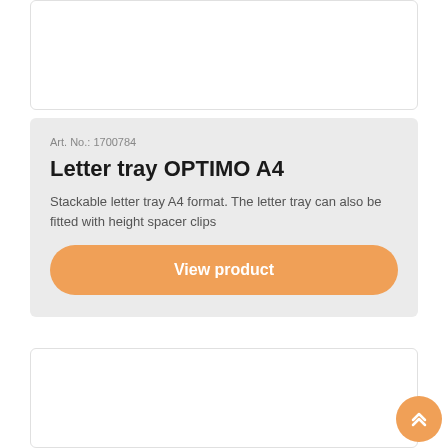[Figure (other): White product card placeholder at top]
Art. No.: 1700784
Letter tray OPTIMO A4
Stackable letter tray A4 format. The letter tray can also be fitted with height spacer clips
View product
[Figure (other): White product card placeholder at bottom]
[Figure (other): Orange back-to-top button with double chevron icon]